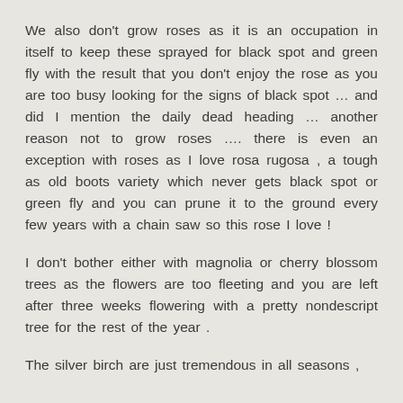We also don't grow roses as it is an occupation in itself to keep these sprayed for black spot and green fly with the result that you don't enjoy the rose as you are too busy looking for the signs of black spot … and did I mention the daily dead heading … another reason not to grow roses …. there is even an exception with roses as I love rosa rugosa , a tough as old boots variety which never gets black spot or green fly and you can prune it to the ground every few years with a chain saw so this rose I love !
I don't bother either with magnolia or cherry blossom trees as the flowers are too fleeting and you are left after three weeks flowering with a pretty nondescript tree for the rest of the year .
The silver birch are just tremendous in all seasons ,